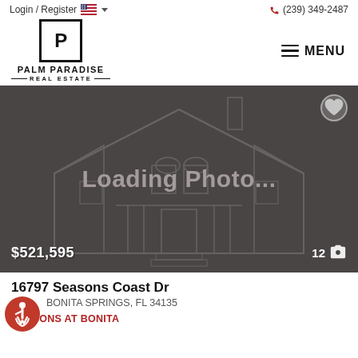Login / Register  (239) 349-2487
[Figure (logo): Palm Paradise Real Estate logo with P in a box, company name below]
[Figure (photo): Property listing placeholder image showing a house wireframe outline with 'Loading Photo...' text overlay, price $521,595 and 12 photos indicator]
16797 Seasons Coast Dr
BONITA SPRINGS, FL 34135
SEASONS AT BONITA